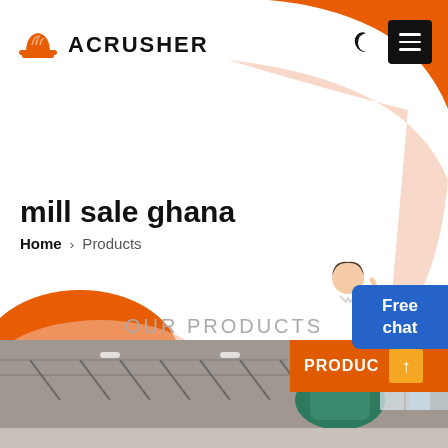[Figure (logo): Acrusher logo with orange hard hat icon and bold uppercase ACRUSHER text]
mill sale ghana
Home > Products
OUR PRODUCTS
[Figure (photo): Interior of an industrial warehouse or factory showing overhead equipment and machinery in green/teal color, steel ceiling structure, and bright windows]
PRODUC